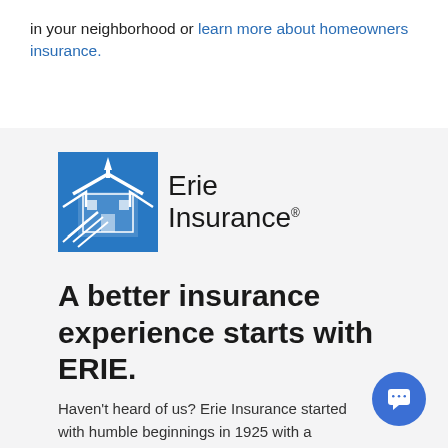in your neighborhood or learn more about homeowners insurance.
[Figure (logo): Erie Insurance logo — blue building/house icon with church steeple on left, 'Erie Insurance' text with registered trademark on right]
A better insurance experience starts with ERIE.
Haven't heard of us? Erie Insurance started with humble beginnings in 1925 with a mission to